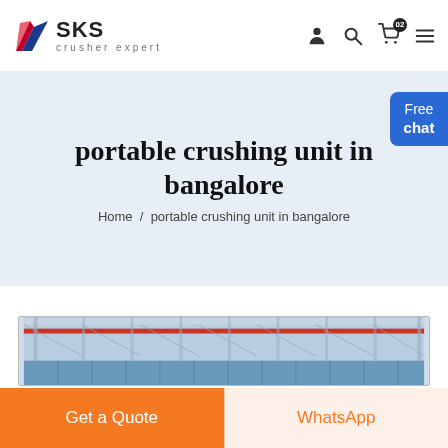[Figure (logo): SKS crusher expert logo with stylized blue/red wing icon and text 'SKS crusher expert']
portable crushing unit in bangalore
Home / portable crushing unit in bangalore
[Figure (photo): Interior of an industrial warehouse or factory with steel structure roof and blue panel walls]
Get a Quote
WhatsApp